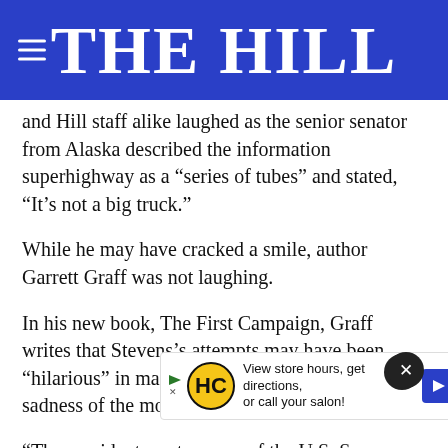THE HILL
and Hill staff alike laughed as the senior senator from Alaska described the information superhighway as a “series of tubes” and stated, “It’s not a big truck.”
While he may have cracked a smile, author Garrett Graff was not laughing.
In his new book, The First Campaign, Graff writes that Stevens’s attempts may have been “hilarious” in many respects, but “the utter sadness of the moment was lost on many.”
“The president pro tempore of the U.S. Sen[ate], who is fourth[in line]... abso[lutely]... erful engine of the U.S. economy,” Graff says